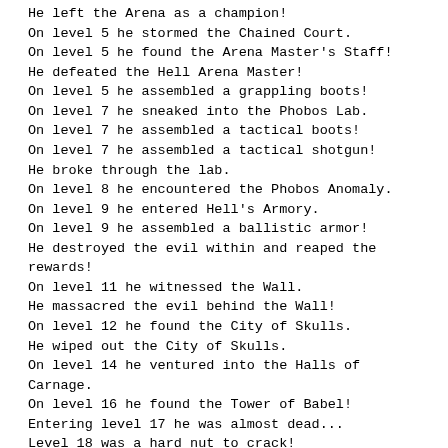He left the Arena as a champion!
On level 5 he stormed the Chained Court.
On level 5 he found the Arena Master's Staff!
He defeated the Hell Arena Master!
On level 5 he assembled a grappling boots!
On level 7 he sneaked into the Phobos Lab.
On level 7 he assembled a tactical boots!
On level 7 he assembled a tactical shotgun!
He broke through the lab.
On level 8 he encountered the Phobos Anomaly.
On level 9 he entered Hell's Armory.
On level 9 he assembled a ballistic armor!
He destroyed the evil within and reaped the rewards!
On level 11 he witnessed the Wall.
He massacred the evil behind the Wall!
On level 12 he found the City of Skulls.
He wiped out the City of Skulls.
On level 14 he ventured into the Halls of Carnage.
On level 16 he found the Tower of Babel!
Entering level 17 he was almost dead...
Level 18 was a hard nut to crack!
On level 19 he entered the Vaults.
He cracked the Vaults and cleared them out!